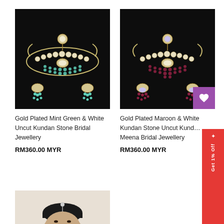[Figure (photo): Jewelry set: Gold Plated Mint Green & White necklace with earrings on dark background]
[Figure (photo): Jewelry set: Gold Plated Maroon & White necklace with earrings on dark background, with purple heart icon overlay]
Gold Plated Mint Green & White Uncut Kundan Stone Bridal Jewellery
Gold Plated Maroon & White Kundan Stone Uncut Kundan Meena Bridal Jewellery
RM360.00 MYR
RM360.00 MYR
[Figure (photo): Woman wearing silver maang tikka jewelry, face partially visible, dark background]
Get 1% Off